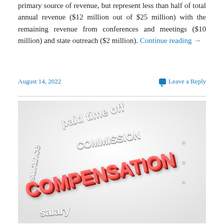primary source of revenue, but represent less than half of total annual revenue ($12 million out of $25 million) with the remaining revenue from conferences and meetings ($10 million) and state outreach ($2 million). Continue reading →
August 14, 2022
Leave a Reply
[Figure (illustration): 3D word cloud illustration showing compensation-related terms. Large red 3D letters spell 'COMPENSATION' prominently in the foreground. Smaller white/grey 3D text includes 'paid time off', 'COMMISSION', 'insurance', 'salary' arranged at various angles on a white background.]